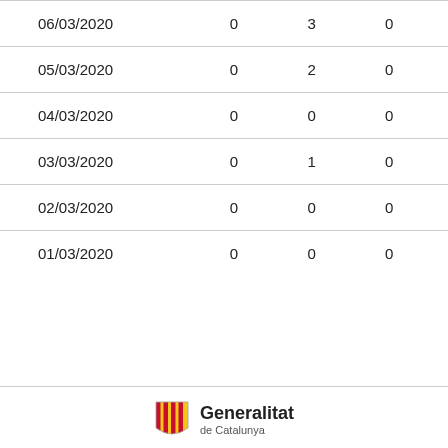| 06/03/2020 | 0 | 3 | 0 |
| 05/03/2020 | 0 | 2 | 0 |
| 04/03/2020 | 0 | 0 | 0 |
| 03/03/2020 | 0 | 1 | 0 |
| 02/03/2020 | 0 | 0 | 0 |
| 01/03/2020 | 0 | 0 | 0 |
[Figure (logo): Generalitat de Catalunya logo with red striped shield icon and text 'Generalitat']